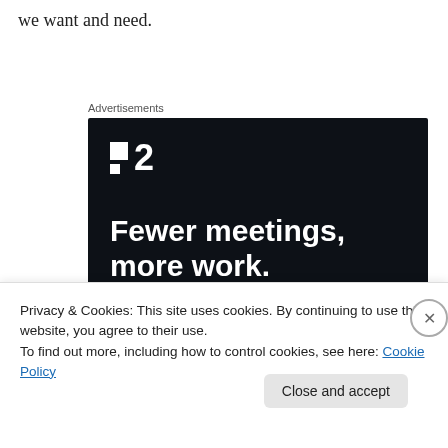we want and need.
Advertisements
[Figure (other): Advertisement banner for a project management tool. Dark navy background with a logo showing two squares and the number 2. Headline reads 'Fewer meetings, more work.' with a 'Get started for free' button.]
Privacy & Cookies: This site uses cookies. By continuing to use this website, you agree to their use.
To find out more, including how to control cookies, see here: Cookie Policy